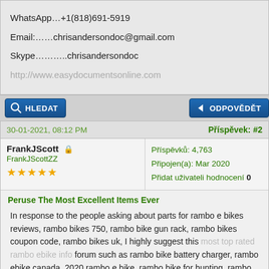WhatsApp…+1(818)691-5919
Email:……chrisandersondoc@gmail.com
Skype………..chrisandersondoc
http://www.easydocumentsonline.com
30-01-2021, 08:12 PM
Příspěvek: #2
FrankJScott 🔒
FrankJScottZZ
★★★★★
Příspěvků: 4,763
Připojen(a): Mar 2020
Přidat uživateli hodnocení 0
Peruse The Most Excellent Items Ever
In response to the people asking about parts for rambo e bikes reviews, rambo bikes 750, rambo bike gun rack, rambo bikes coupon code, rambo bikes uk, I highly suggest this most top rated rambo ebike info forum such as rambo bike battery charger, rambo ebike canada, 2020 rambo e bike, rambo bike for hunting, rambo bike accessories, look at this most awesome rambo e-bike recommendations which is also great. Also try